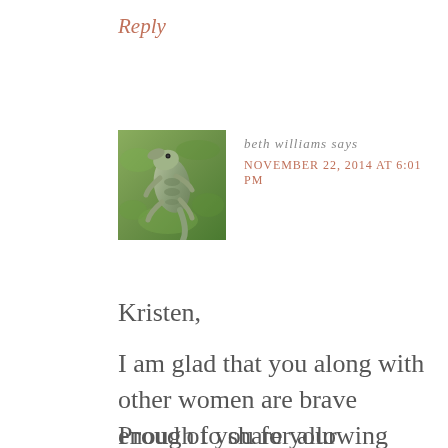Reply
[Figure (photo): Avatar photo of a small lizard or baby alligator on green grass/moss, viewed from above]
beth williams says
NOVEMBER 22, 2014 AT 6:01 PM
Kristen,
I am glad that you along with other women are brave enough to share your thoughts and words with us. You encourage us so much–you will never ever know!!
Proud of you for allowing God to use you